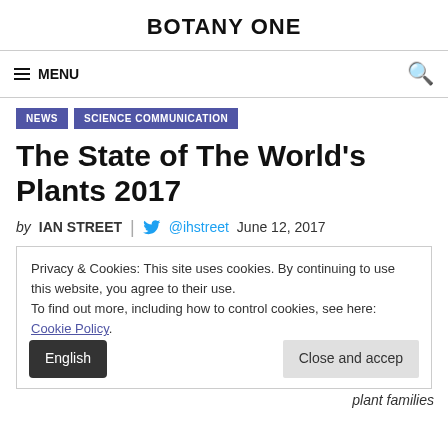BOTANY ONE
☰ MENU   🔍
NEWS   SCIENCE COMMUNICATION
The State of The World's Plants 2017
by IAN STREET  |  @ihstreet  June 12, 2017
Privacy & Cookies: This site uses cookies. By continuing to use this website, you agree to their use.
To find out more, including how to control cookies, see here: Cookie Policy.
Close and accep
English
plant families